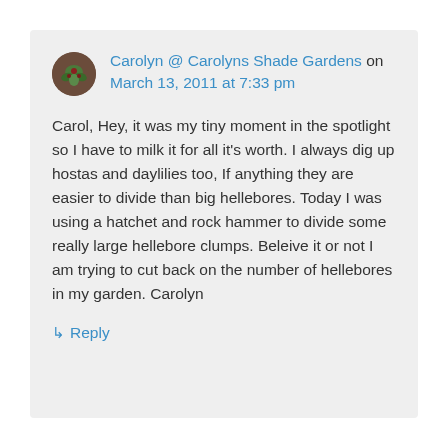Carolyn @ Carolyns Shade Gardens on March 13, 2011 at 7:33 pm
Carol, Hey, it was my tiny moment in the spotlight so I have to milk it for all it's worth. I always dig up hostas and daylilies too, If anything they are easier to divide than big hellebores. Today I was using a hatchet and rock hammer to divide some really large hellebore clumps. Beleive it or not I am trying to cut back on the number of hellebores in my garden. Carolyn
↳ Reply